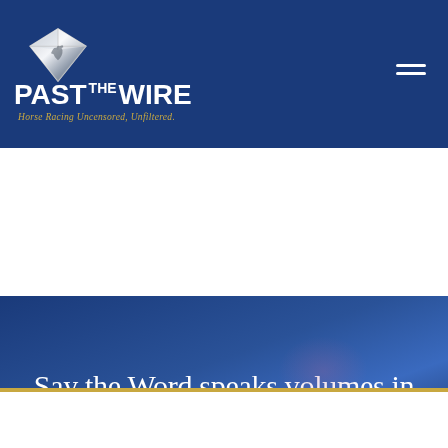PAST THE WIRE — Horse Racing Uncensored, Unfiltered.
Say the Word speaks volumes in Northern Dancer Turf
October 18, 2020
[Figure (advertisement): Redesdale horse racing advertisement with 10.0 20.4 33.3 20X Stud Fee Brilliant! text and McMahon of Saratoga branding]
[Figure (other): Social media sharing buttons: Facebook, Twitter, Pinterest, Email, Share; bookmark button with 0 badge]